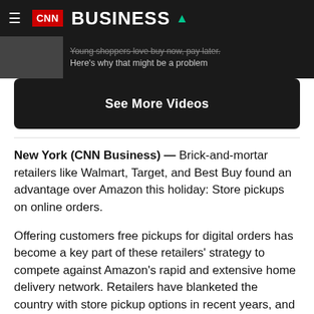CNN BUSINESS
Young shoppers love buy now, pay later. Here's why that might be a problem
See More Videos
New York (CNN Business) — Brick-and-mortar retailers like Walmart, Target, and Best Buy found an advantage over Amazon this holiday: Store pickups on online orders.
Offering customers free pickups for digital orders has become a key part of these retailers' strategy to compete against Amazon's rapid and extensive home delivery network. Retailers have blanketed the country with store pickup options in recent years, and those investments paid off during the holidays.